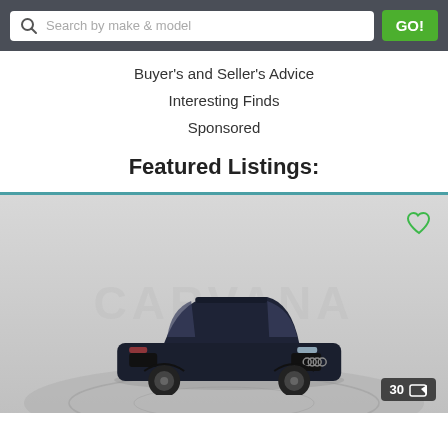[Figure (screenshot): Search bar with magnifying glass icon, placeholder text 'Search by make & model', and a green GO! button, on dark gray background]
Buyer's and Seller's Advice
Interesting Finds
Sponsored
Featured Listings:
[Figure (photo): Carvana listing photo of a dark blue/black Audi A3 sedan on a circular display platform, viewed from front-left angle. Carvana watermark text visible in background. Green heart icon in top-right corner. Photo count badge showing '30' with image icon in bottom-right corner.]